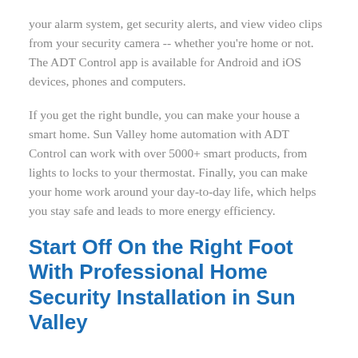your alarm system, get security alerts, and view video clips from your security camera -- whether you're home or not. The ADT Control app is available for Android and iOS devices, phones and computers.
If you get the right bundle, you can make your house a smart home. Sun Valley home automation with ADT Control can work with over 5000+ smart products, from lights to locks to your thermostat. Finally, you can make your home work around your day-to-day life, which helps you stay safe and leads to more energy efficiency.
Start Off On the Right Foot With Professional Home Security Installation in Sun Valley